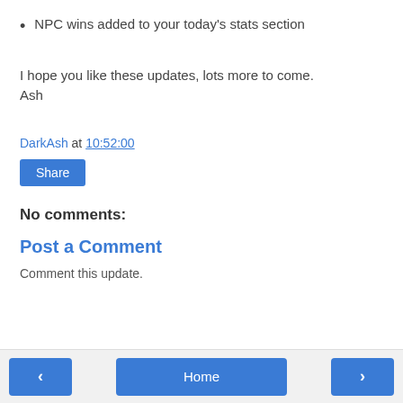NPC wins added to your today's stats section
I hope you like these updates, lots more to come.
Ash
DarkAsh at 10:52:00
Share
No comments:
Post a Comment
Comment this update.
‹  Home  ›